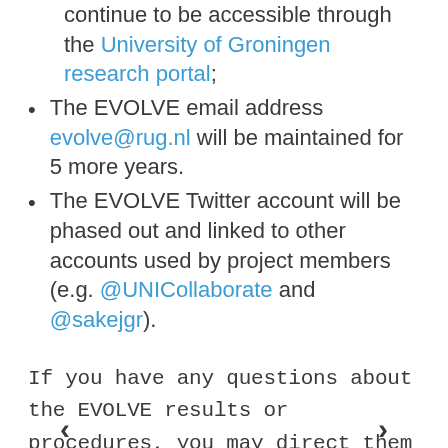continue to be accessible through the University of Groningen research portal;
The EVOLVE email address evolve@rug.nl will be maintained for 5 more years.
The EVOLVE Twitter account will be phased out and linked to other accounts used by project members (e.g. @UNICollaborate and @sakejgr).
If you have any questions about the EVOLVE results or procedures, you may direct them to evolve@rug.nl.